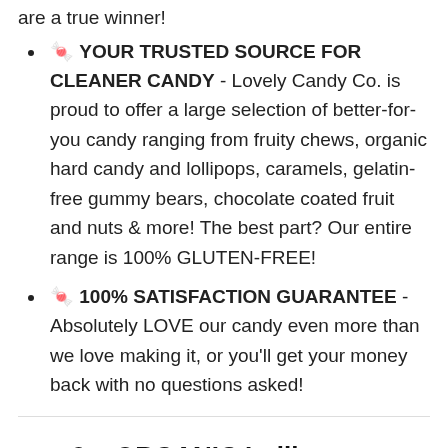are a true winner!
🍬 YOUR TRUSTED SOURCE FOR CLEANER CANDY - Lovely Candy Co. is proud to offer a large selection of better-for-you candy ranging from fruity chews, organic hard candy and lollipops, caramels, gelatin-free gummy bears, chocolate coated fruit and nuts & more! The best part? Our entire range is 100% GLUTEN-FREE!
🍬 100% SATISFACTION GUARANTEE - Absolutely LOVE our candy even more than we love making it, or you'll get your money back with no questions asked!
9   ORGANIC Lollipops - Lovely Co. 7oz Bag (40 count) -